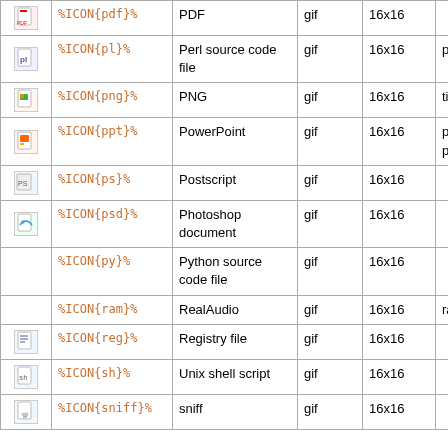| Icon | Variable | Description | Type | Size | Extensions |
| --- | --- | --- | --- | --- | --- |
| [icon] | %ICON{pdf}% | PDF | gif | 16x16 |  |
| [icon] | %ICON{pl}% | Perl source code file | gif | 16x16 | perl, pm |
| [icon] | %ICON{png}% | PNG | gif | 16x16 | tif, tiff |
| [icon] | %ICON{ppt}% | PowerPoint | gif | 16x16 | pot, ppa, pps, pwz |
| [icon] | %ICON{ps}% | Postscript | gif | 16x16 |  |
| [icon] | %ICON{psd}% | Photoshop document | gif | 16x16 |  |
|  | %ICON{py}% | Python source code file | gif | 16x16 |  |
|  | %ICON{ram}% | RealAudio | gif | 16x16 | ra, rm |
| [icon] | %ICON{reg}% | Registry file | gif | 16x16 |  |
| [icon] | %ICON{sh}% | Unix shell script | gif | 16x16 |  |
| [icon] | %ICON{sniff}% | sniff | gif | 16x16 |  |